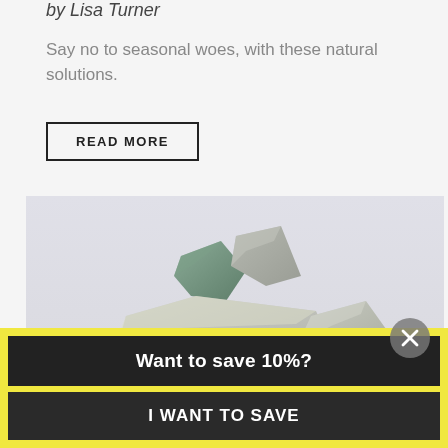by Lisa Turner
Say no to seasonal woes, with these natural solutions.
READ MORE
[Figure (photo): Photograph of natural mineral rocks and stones with a small wooden scoop/mortar tool on a light gray background]
Want to save 10%?
I WANT TO SAVE